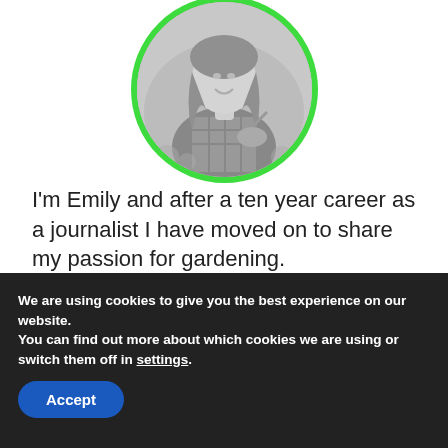[Figure (photo): Circular profile photo of a young woman with long hair, holding a watering can in a garden, in black and white, with a bright green circular border.]
I'm Emily and after a ten year career as a journalist I have moved on to share my passion for gardening.
[Figure (other): Partial view of three circular profile images at the bottom of the content area.]
We are using cookies to give you the best experience on our website.
You can find out more about which cookies we are using or switch them off in settings.
Accept